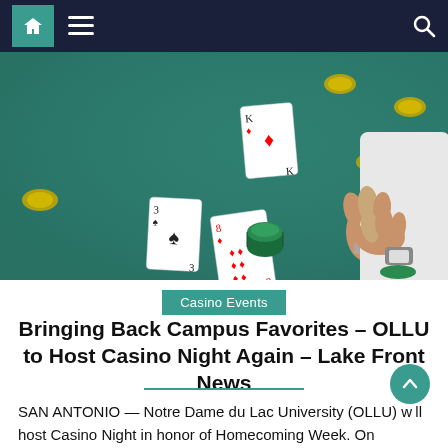Navigation bar with home, menu, and search icons
[Figure (photo): Casino table with green felt, playing cards, poker chips, and a dealer's hands handling cards]
Casino Events
Bringing Back Campus Favorites – OLLU to Host Casino Night Again – Lake Front News
SAN ANTONIO — Notre Dame du Lac University (OLLU) will host Casino Night in honor of Homecoming Week. On February 18, once Semester One comes to an end, Casino Night will take place near the...